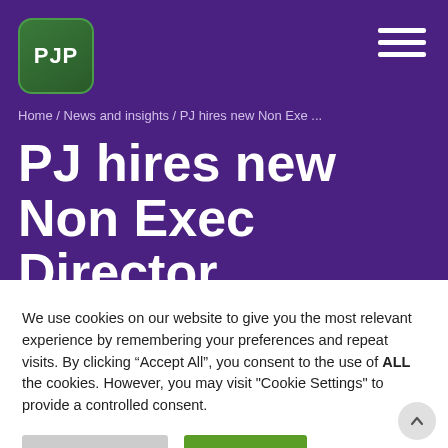[Figure (logo): PJP logo - green rounded square with white PJP text]
Home / News and insights / PJ hires new Non Exe ...
PJ hires new Non Exec Director
We use cookies on our website to give you the most relevant experience by remembering your preferences and repeat visits. By clicking “Accept All”, you consent to the use of ALL the cookies. However, you may visit "Cookie Settings" to provide a controlled consent.
Cookie Settings | Accept All